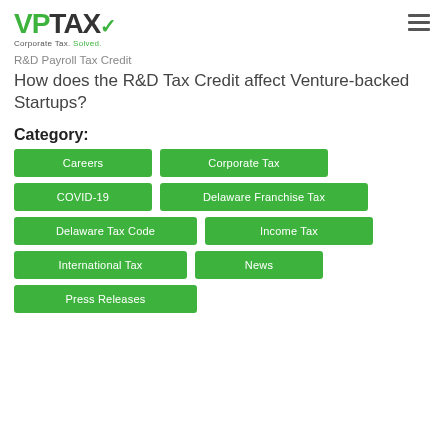VPTAX Corporate Tax. Solved.
R&D Payroll Tax Credit
How does the R&D Tax Credit affect Venture-backed Startups?
Category:
Careers
Corporate Tax
COVID-19
Delaware Franchise Tax
Delaware Tax Code
Income Tax
International Tax
News
Press Releases